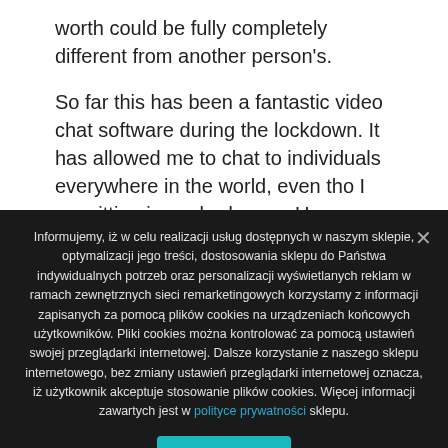worth could be fully completely different from another person's.
So far this has been a fantastic video chat software during the lockdown. It has allowed me to chat to individuals everywhere in the world, even tho I am sitting in my bed room. Users have the option to ship photographs and media to any clients even with out
Informujemy, iż w celu realizacji usług dostępnych w naszym sklepie, optymalizacji jego treści, dostosowania sklepu do Państwa indywidualnych potrzeb oraz personalizacji wyświetlanych reklam w ramach zewnętrznych sieci remarketingowych korzystamy z informacji zapisanych za pomocą plików cookies na urządzeniach końcowych użytkowników. Pliki cookies można kontrolować za pomocą ustawień swojej przeglądarki internetowej. Dalsze korzystanie z naszego sklepu internetowego, bez zmiany ustawień przeglądarki internetowej oznacza, iż użytkownik akceptuje stosowanie plików cookies. Więcej informacji zawartych jest w polityce prywatności sklepu.
Zgoda